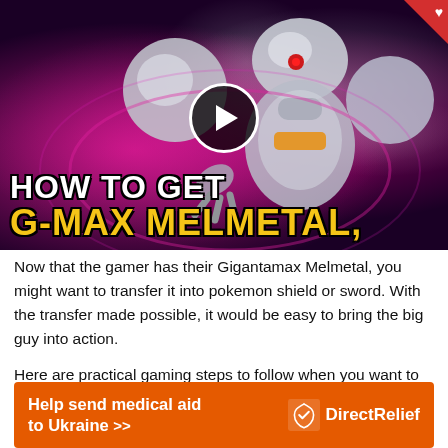[Figure (screenshot): Video thumbnail showing a Gigantamax Melmetal Pokemon with text overlay 'HOW TO GET G-MAX MELMETAL' and a play button circle in the center. A red heart badge is in the top-right corner.]
Now that the gamer has their Gigantamax Melmetal, you might want to transfer it into pokemon shield or sword. With the transfer made possible, it would be easy to bring the big guy into action.
Here are practical gaming steps to follow when you want to transfer gigantamax to shield and sword:
[Figure (other): Orange advertisement banner for Direct Relief charity: 'Help send medical aid to Ukraine >>' with DirectRelief logo on the right.]